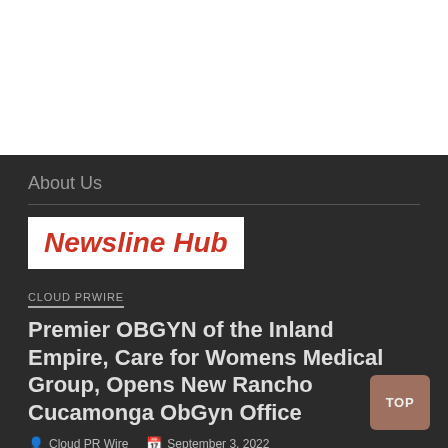[Figure (logo): Newsline Hub logo with bold italic red text on white background]
About Us
CLOUD PRWIRE
Premier OBGYN of the Inland Empire, Care for Womens Medical Group, Opens New Rancho Cucamonga ObGyn Office
Cloud PR Wire   September 3, 2022
Care for Womens Medical Group offers a broad range of services that include aesthetics treatment in Rancho Cucamonga such as botox and Morpheus 8, as...